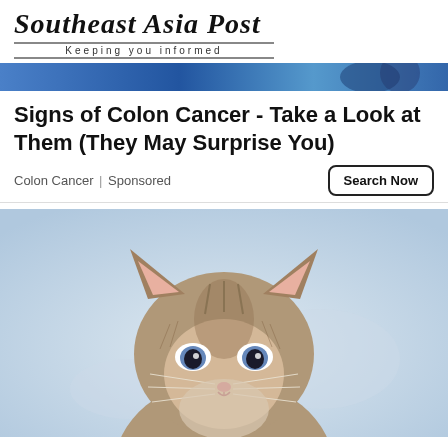Southeast Asia Post — Keeping you informed
[Figure (photo): Blue banner/header image strip at top of article]
Signs of Colon Cancer - Take a Look at Them (They May Surprise You)
Colon Cancer | Sponsored
[Figure (photo): Close-up photo of a small fluffy kitten with blue eyes looking at the camera, on a light blue background]